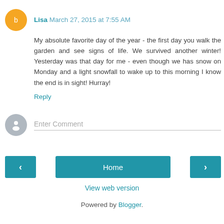Lisa  March 27, 2015 at 7:55 AM
My absolute favorite day of the year - the first day you walk the garden and see signs of life. We survived another winter! Yesterday was that day for me - even though we has snow on Monday and a light snowfall to wake up to this morning I know the end is in sight! Hurray!
Reply
Enter Comment
Home
View web version
Powered by Blogger.